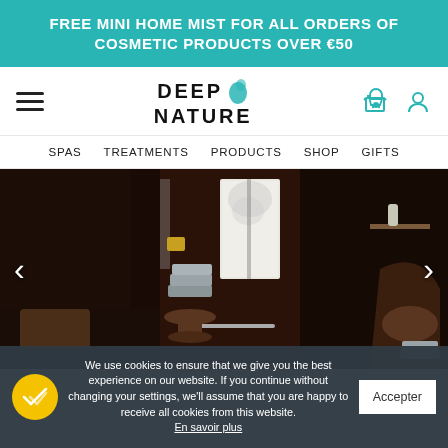FREE MINI HOME MIST FOR ALL ORDERS OF COSMETIC PRODUCTS OVER €50
[Figure (logo): Deep Nature logo with teal teardrop/leaf shape icon next to bold uppercase text DEEP NATURE]
SPAS  TREATMENTS  PRODUCTS  SHOP  GIFTS
[Figure (photo): Dark wood spa interior with sauna door, folded grey towels on wooden stool, candle holder, warm light from frosted glass door panel, wooden bucket on left]
We use cookies to ensure that we give you the best experience on our website. If you continue without changing your settings, we'll assume that you are happy to receive all cookies from this website. En savoir plus